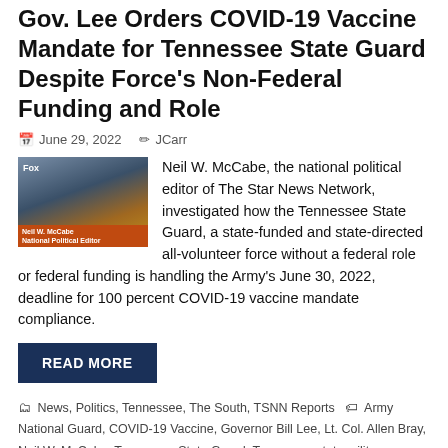Gov. Lee Orders COVID-19 Vaccine Mandate for Tennessee State Guard Despite Force's Non-Federal Funding and Role
June 29, 2022   JCarr
[Figure (photo): News broadcast screenshot of a man in suit speaking, with a chyron bar at the bottom showing a name/title on a TV news program.]
Neil W. McCabe, the national political editor of The Star News Network, investigated how the Tennessee State Guard, a state-funded and state-directed all-volunteer force without a federal role or federal funding is handling the Army's June 30, 2022, deadline for 100 percent COVID-19 vaccine mandate compliance.
READ MORE
News, Politics, Tennessee, The South, TSNN Reports   Army National Guard, COVID-19 Vaccine, Governor Bill Lee, Lt. Col. Allen Bray, Neil W. McCabe, Tennessee State Guard, Tennessee state military department, The Star News Network
Leave a comment
Civil Rights Commissioner to University of